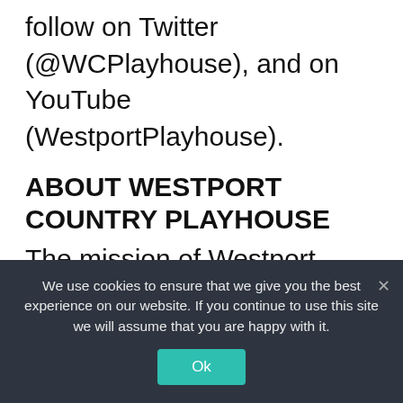follow on Twitter (@WCPlayhouse), and on YouTube (WestportPlayhouse).
ABOUT WESTPORT COUNTRY PLAYHOUSE
The mission of Westport Country Playhouse is to enrich, enlighten, and engage the community through the power of professionally produced theater of the highest caliber and the welcoming experience of the Playhouse campus. The not-for-profit Playhouse provides this experience in multiple ways by offering live
We use cookies to ensure that we give you the best experience on our website. If you continue to use this site we will assume that you are happy with it.